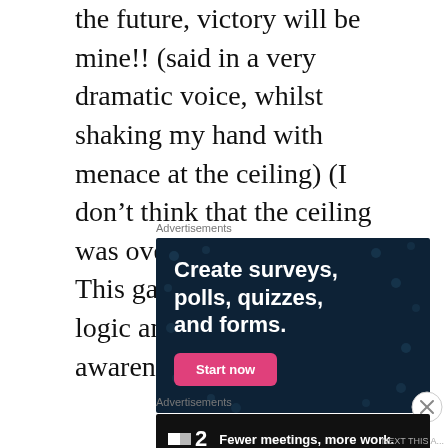the future, victory will be mine!! (said in a very dramatic voice, whilst shaking my hand with menace at the ceiling) (I don't think that the ceiling was overly impressed). This game teaches both logic and spatial awareness.
Advertisements
[Figure (other): Advertisement banner with dark navy background and white dot pattern. Text reads 'Create surveys, polls, quizzes, and forms.' with a pink 'Start now' button.]
Advertisements
[Figure (other): Advertisement banner with black background. Shows a logo with two squares and '2', with text 'Fewer meetings, more work.']